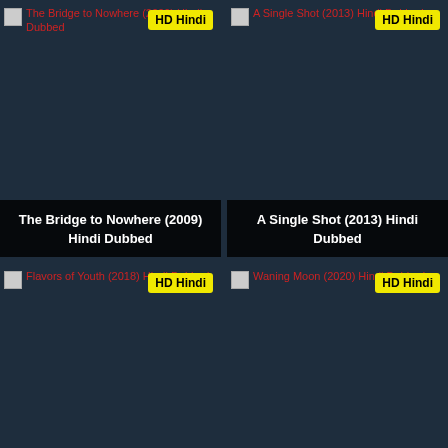[Figure (screenshot): Movie card: The Bridge to Nowhere (2009) Hindi Dubbed with HD Hindi badge]
[Figure (screenshot): Movie card: A Single Shot (2013) Hindi Dubbed with HD Hindi badge]
[Figure (screenshot): Movie card partial: Flavors of Youth (2018) Hindi Dubbed with HD Hindi badge]
[Figure (screenshot): Movie card partial: Waning Moon (2020) Hindi Dubbed with HD Hindi badge]